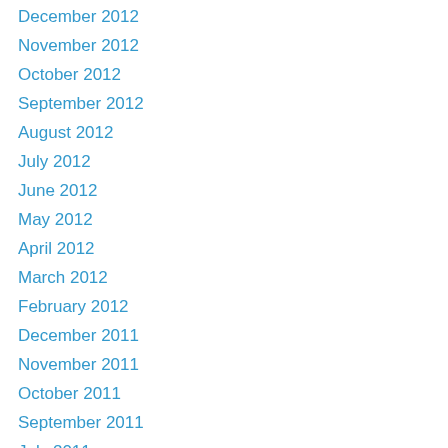December 2012
November 2012
October 2012
September 2012
August 2012
July 2012
June 2012
May 2012
April 2012
March 2012
February 2012
December 2011
November 2011
October 2011
September 2011
July 2011
June 2011
April 2011
March 2011
February 2011